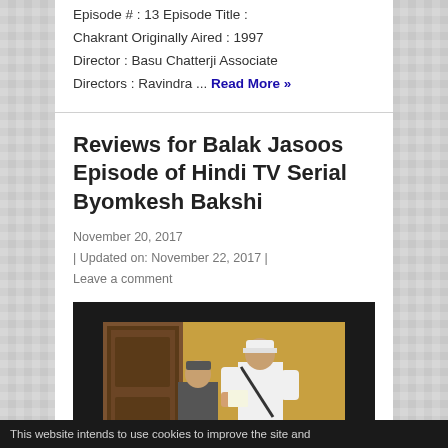Episode # : 13 Episode Title : Chakrant Originally Aired : 1997 Director : Basu Chatterji Associate Directors : Ravindra ... Read More »
Reviews for Balak Jasoos Episode of Hindi TV Serial Byomkesh Bakshi
November 20, 2017 | Updated on: November 22, 2017 | Leave a comment
[Figure (photo): Screenshot from Byomkesh Bakshi Hindi TV serial showing a person in white uniform and cap in an indoor scene]
This website intends to use cookies to improve the site and...